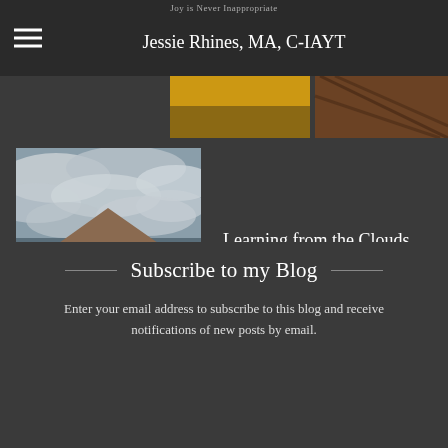Jessie Rhines, MA, C-IAYT
[Figure (photo): Partial view of two thumbnail images at the top - golden sky and patterned fabric]
[Figure (photo): Photo of a house with cloudy sky and bare trees]
Learning from the Clouds
[Figure (photo): Selfie photo of two people - younger person with curly hair and older man with white beard, both smiling]
Winter Blossoms
Subscribe to my Blog
Enter your email address to subscribe to this blog and receive notifications of new posts by email.